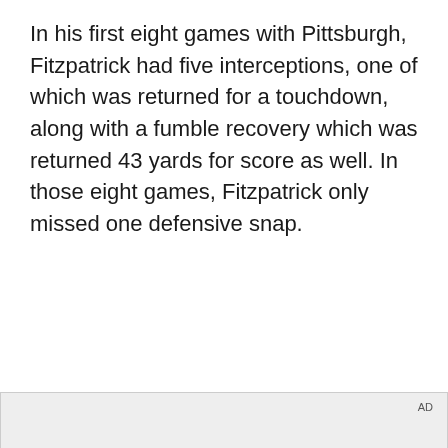In his first eight games with Pittsburgh, Fitzpatrick had five interceptions, one of which was returned for a touchdown, along with a fumble recovery which was returned 43 yards for score as well. In those eight games, Fitzpatrick only missed one defensive snap.
[Figure (screenshot): Advertisement area with 'AD' label in gray box, followed by a dark video frame showing a person holding a foldable smartphone with text 'Unfold your world' and a play button overlay]